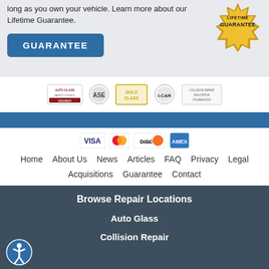long as you own your vehicle. Learn more about our Lifetime Guarantee.
[Figure (logo): Lifetime Guarantee gold seal badge]
GUARANTEE
[Figure (logo): Auto Glass Safety Council, ASE, Gold Class, I-CAR, Collision Repair Education Foundation logos]
[Figure (logo): Payment icons: VISA, Mastercard, Discover, American Express]
Home   About Us   News   Articles   FAQ   Privacy   Legal   Acquisitions   Guarantee   Contact
Browse Repair Locations
Auto Glass
Collision Repair